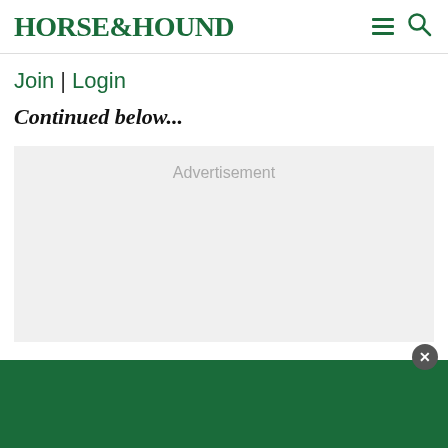HORSE&HOUND
Join | Login
Continued below...
[Figure (other): Advertisement placeholder block with light gray background and 'Advertisement' label text centered at top]
[Figure (other): Green bottom banner/bar with close button (X) in dark circle at top-right corner]